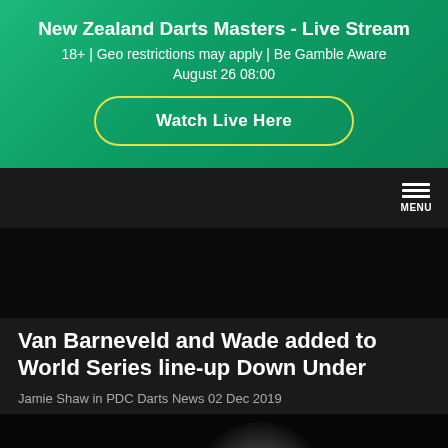[Figure (infographic): Green gradient banner advertising New Zealand Darts Masters Live Stream with a Watch Live Here button]
New Zealand Darts Masters - Live Stream
18+ | Geo restrictions may apply | Be Gamble Aware
August 26 08:00
Watch Live Here
[Figure (screenshot): Dark navigation bar with hamburger menu icon and MENU label on the right]
[Figure (photo): Dark background transitional area above article]
Van Barneveld and Wade added to World Series line-up Down Under
Jamie Shaw in PDC Darts News 02 Dec 2019
[Figure (photo): Photo of a bald darts player on stage with purple stage lighting]